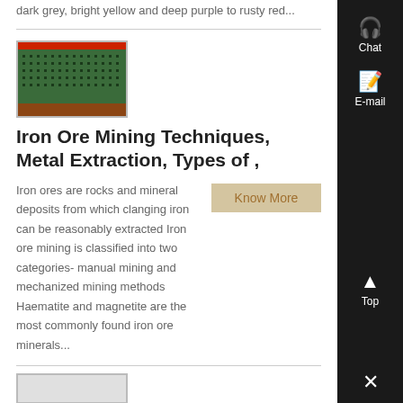dark grey, bright yellow and deep purple to rusty red...
[Figure (photo): Thumbnail image of iron ore mining equipment showing green and red machinery on a grid surface]
Iron Ore Mining Techniques, Metal Extraction, Types of ,
Iron ores are rocks and mineral deposits from which clanging iron can be reasonably extracted Iron ore mining is classified into two categories- manual mining and mechanized mining methods Haematite and magnetite are the most commonly found iron ore minerals...
Know More